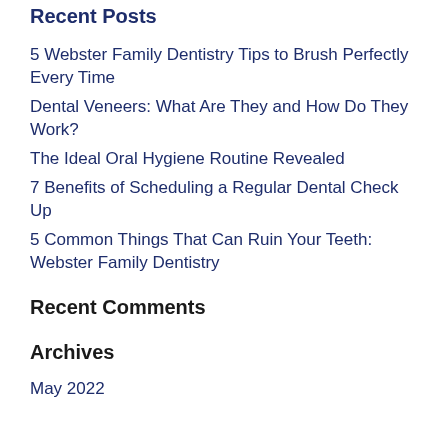Recent Posts
5 Webster Family Dentistry Tips to Brush Perfectly Every Time
Dental Veneers: What Are They and How Do They Work?
The Ideal Oral Hygiene Routine Revealed
7 Benefits of Scheduling a Regular Dental Check Up
5 Common Things That Can Ruin Your Teeth: Webster Family Dentistry
Recent Comments
Archives
May 2022